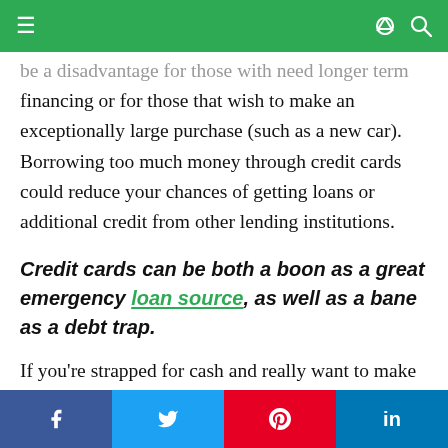Navigation bar with hamburger menu, share and search icons
be a disadvantage for those with need longer term financing or for those that wish to make an exceptionally large purchase (such as a new car). Borrowing too much money through credit cards could reduce your chances of getting loans or additional credit from other lending institutions.
Credit cards can be both a boon as a great emergency loan source, as well as a bane as a debt trap.
If you're strapped for cash and really want to make that purchase, you can charge it and pay it off later.
Social share buttons: Facebook, Twitter, Pinterest, LinkedIn